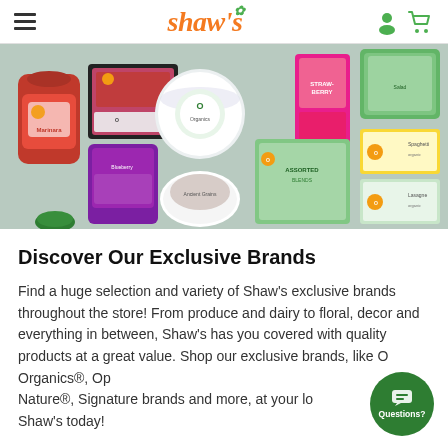Shaw's
[Figure (photo): Flat lay of O Organics branded grocery products including pasta sauce jar, meat package, yogurt container, strawberry carton, salad greens, blueberry yogurt, grain bowl, and various boxed items on a gray background]
Discover Our Exclusive Brands
Find a huge selection and variety of Shaw's exclusive brands throughout the store! From produce and dairy to floral, decor and everything in between, Shaw's has you covered with quality products at a great value. Shop our exclusive brands, like O Organics®, Open Nature®, Signature brands and more, at your local Shaw's today!